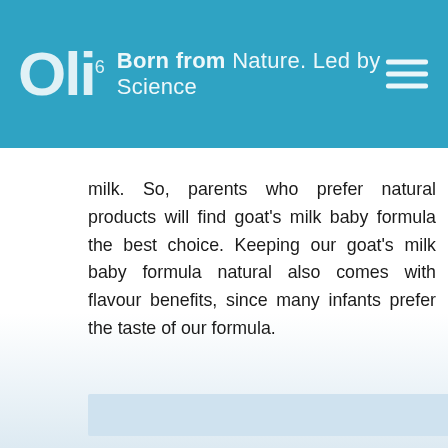Oli6 — Born from Nature. Led by Science
milk. So, parents who prefer natural products will find goat's milk baby formula the best choice. Keeping our goat's milk baby formula natural also comes with flavour benefits, since many infants prefer the taste of our formula.